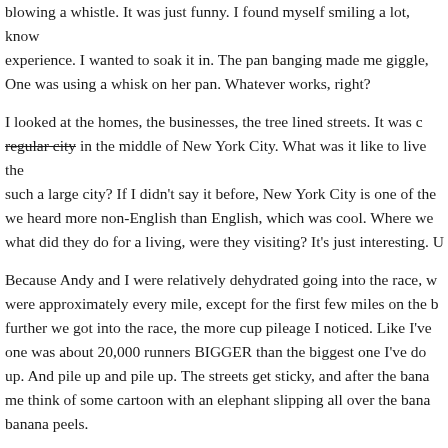blowing a whistle. It was just funny. I found myself smiling a lot, knowing this was a once in a lifetime experience. I wanted to soak it in. The pan banging made me giggle, I have to admit. One was using a whisk on her pan. Whatever works, right?
I looked at the homes, the businesses, the tree lined streets. It was almost like a regular city in the middle of New York City. What was it like to live there in such a large city? If I didn't say it before, New York City is one of the... we heard more non-English than English, which was cool. Where we... what did they do for a living, were they visiting? It's just interesting. U...
Because Andy and I were relatively dehydrated going into the race, w... were approximately every mile, except for the first few miles on the b... further we got into the race, the more cup pileage I noticed. Like I've... one was about 20,000 runners BIGGER than the biggest one I've do... up. And pile up and pile up. The streets get sticky, and after the bana... me think of some cartoon with an elephant slipping all over the bana... banana peels.
You run through Brooklyn for many, many miles. Bands are spread o... good music, and a few notable percussion groups were throughout th... sort of recorder/flute thing (I don't think I'll ever see that again), a lad...